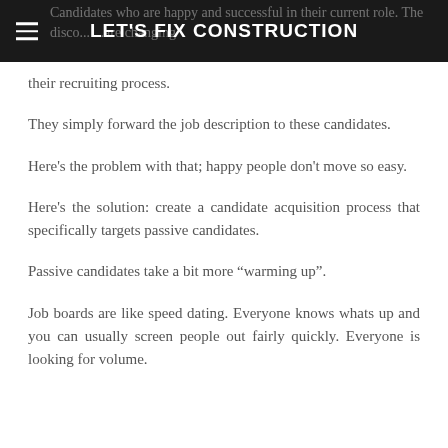LET'S FIX CONSTRUCTION
Candidates who are happy and successful in their current role. The disconnect is that most companies are changing their recruiting process.
They simply forward the job description to these candidates.
Here's the problem with that; happy people don't move so easy.
Here's the solution: create a candidate acquisition process that specifically targets passive candidates.
Passive candidates take a bit more “warming up”.
Job boards are like speed dating. Everyone knows whats up and you can usually screen people out fairly quickly. Everyone is looking for volume.